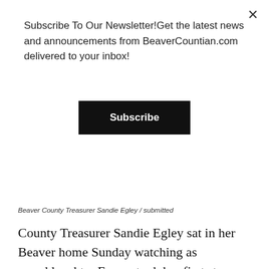Subscribe To Our Newsletter!Get the latest news and announcements from BeaverCountian.com delivered to your inbox!
Subscribe
[Figure (photo): Partial photo of a person in a grey suit jacket and white shirt, cropped to show only the torso/chest area.]
Beaver County Treasurer Sandie Egley / submitted
County Treasurer Sandie Egley sat in her Beaver home Sunday watching as granddaughter Emery took her first step.
Emery Rose Jordan, who just turned one on March 5, put one foot in front of the other and